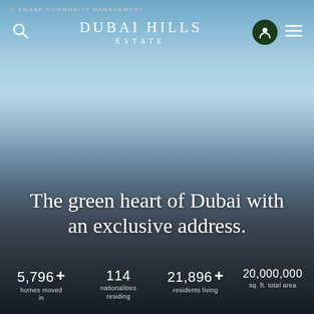EMAAR COMMUNITY MANAGEMENT
DUBAI HILLS ESTATE
The green heart of Dubai with an exclusive address.
5,796 + homes moved in
114 nationalities residing
21,896 + residents living
20,000,000 sq. ft. total area